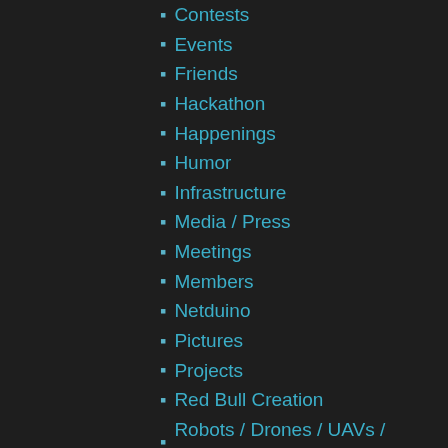Contests
Events
Friends
Hackathon
Happenings
Humor
Infrastructure
Media / Press
Meetings
Members
Netduino
Pictures
Projects
Red Bull Creation
Robots / Drones / UAVs / Multirotors
Soup
Tool Shed
Tutorials
Unboxing